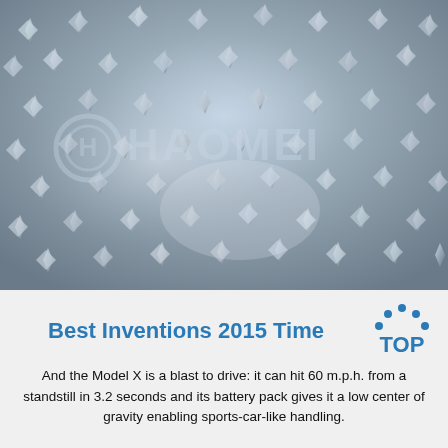[Figure (photo): Close-up photograph of a shiny metallic diamond plate surface with many raised four-pointed star/spike shaped studs. The reflective aluminum surface reflects blurred images of people. A watermark 'HAOMEI' with a logo is visible across the center of the image.]
Best Inventions 2015 Time
And the Model X is a blast to drive: it can hit 60 m.p.h. from a standstill in 3.2 seconds and its battery pack gives it a low center of gravity enabling sports-car-like handling.